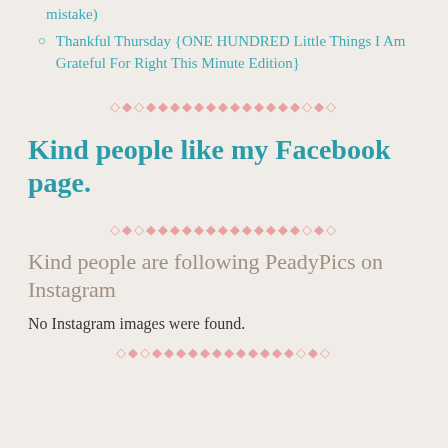mistake)
Thankful Thursday {ONE HUNDRED Little Things I Am Grateful For Right This Minute Edition}
[Figure (other): Decorative diamond/dot divider in pink/rose color]
Kind people like my Facebook page.
[Figure (other): Decorative diamond/dot divider in pink/rose color]
Kind people are following PeadyPics on Instagram
No Instagram images were found.
[Figure (other): Decorative diamond/dot divider in pink/rose color]